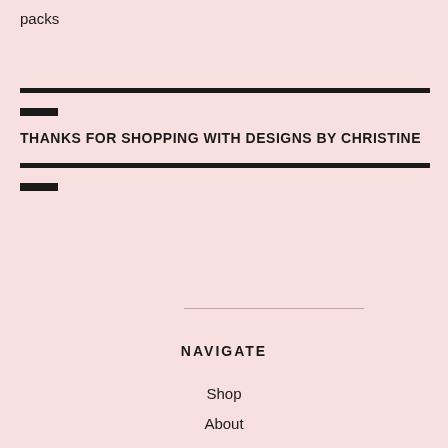packs
THANKS FOR SHOPPING WITH DESIGNS BY CHRISTINE
NAVIGATE
Shop
About